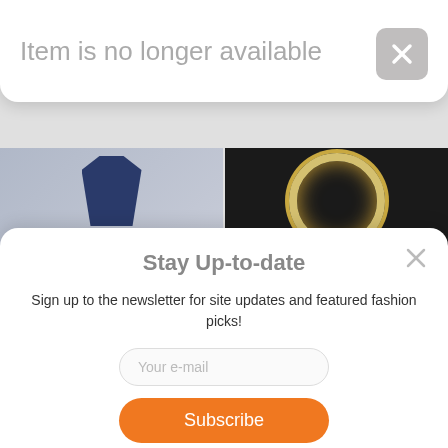Item is no longer available
PLEATS PLEASE ISSEY
$340.19
2017 sundance film
$19.19
Stay Up-to-date
Sign up to the newsletter for site updates and featured fashion picks!
Your e-mail
Subscribe